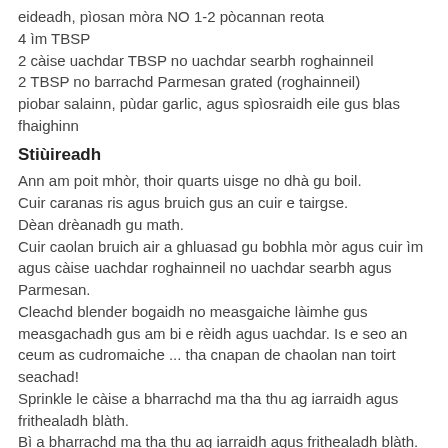eideadh, pìosan mòra NO 1-2 pòcannan reota
4 ìm TBSP
2 càise uachdar TBSP no uachdar searbh roghainneil
2 TBSP no barrachd Parmesan grated (roghainneil)
piobar salainn, pùdar garlic, agus spìosraidh eile gus blas fhaighinn
Stiùireadh
Ann am poit mhòr, thoir quarts uisge no dhà gu boil.
Cuir caranas ris agus bruich gus an cuir e tairgse.
Dèan drèanadh gu math.
Cuir caolan bruich air a ghluasad gu bobhla mòr agus cuir ìm agus càise uachdar roghainneil no uachdar searbh agus Parmesan.
Cleachd blender bogaidh no measgaiche làimhe gus measgachadh gus am bi e rèidh agus uachdar. Is e seo an ceum as cudromaiche ... tha cnapan de chaolan nan toirt seachad!
Sprinkle le càise a bharrachd ma tha thu ag iarraidh agus frithealadh blàth.
Bì a bharrachd ma tha thu ag iarraidh agus frithealadh blàth.